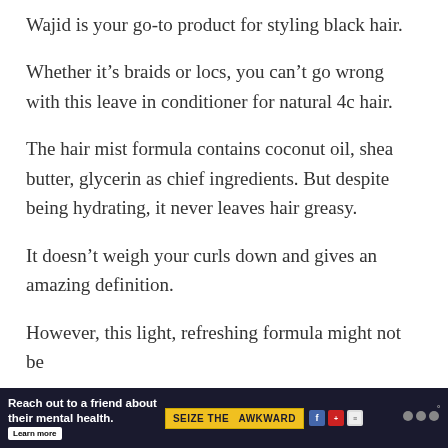Wajid is your go-to product for styling black hair.
Whether it’s braids or locs, you can’t go wrong with this leave in conditioner for natural 4c hair.
The hair mist formula contains coconut oil, shea butter, glycerin as chief ingredients. But despite being hydrating, it never leaves hair greasy.
It doesn’t weigh your curls down and gives an amazing definition.
However, this light, refreshing formula might not be
[Figure (infographic): Advertisement banner: dark navy background. Text reads 'Reach out to a friend about their mental health.' with a 'Learn more' button. Yellow badge reading 'SEIZE THE AWKWARD'. Small icons and a grey logo on the right.]